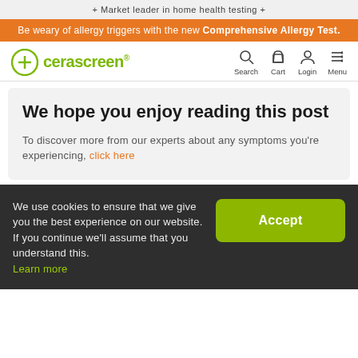+ Market leader in home health testing +
Be weary of allergy triggers with the new Comprehensive Allergy Test.
[Figure (logo): Cerascreen logo with green circle plus icon and green brand name with registered trademark]
We hope you enjoy reading this post
To discover more from our experts about any symptoms you're experiencing, click here
We use cookies to ensure that we give you the best experience on our website. If you continue we'll assume that you understand this.
Learn more